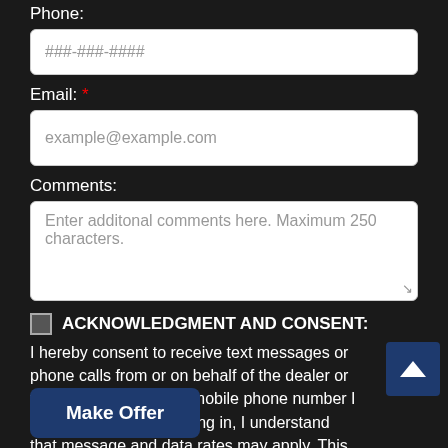Phone:
[Figure (screenshot): Phone number input field with placeholder ###-###-####]
Email: *
[Figure (screenshot): Email input field with placeholder example@example.com]
Comments:
[Figure (screenshot): Textarea with placeholder: Enter additonal comments here. Maximum 250 characters.]
ACKNOWLEDGMENT AND CONSENT:
I hereby consent to receive text messages or phone calls from or on behalf of the dealer or their employees to the mobile phone number I provided above. By opting in, I understand that message and data rates may apply. This
Make Offer